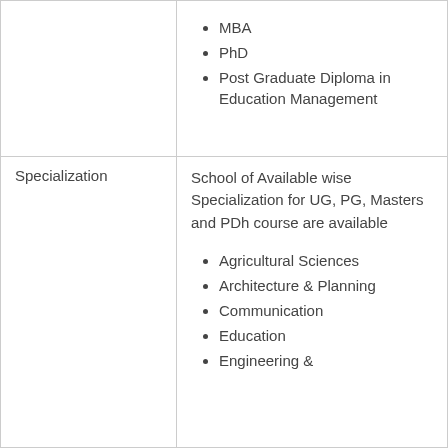MBA
PhD
Post Graduate Diploma in Education Management
School of Available wise Specialization for UG, PG, Masters and PDh course are available
Agricultural Sciences
Architecture & Planning
Communication
Education
Engineering &
Specialization